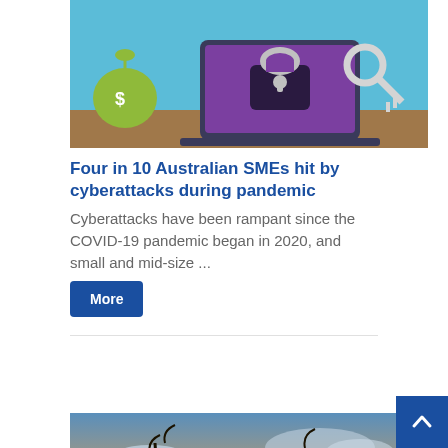[Figure (illustration): Cybersecurity illustration showing a laptop with a padlock and a key, with a money bag in the background, on a blue background.]
Four in 10 Australian SMEs hit by cyberattacks during pandemic
Cyberattacks have been rampant since the COVID-19 pandemic began in 2020, and small and mid-size ...
More
[Figure (photo): Photograph of grass silhouettes against a dramatic sunset sky with orange and golden tones, clouds in the background — an Australian rural/nature landscape.]
Digging deep to uncover changes in Australian soil
South Australian researchers are set to examine 10,000 historical soil DNA samples in a bid...